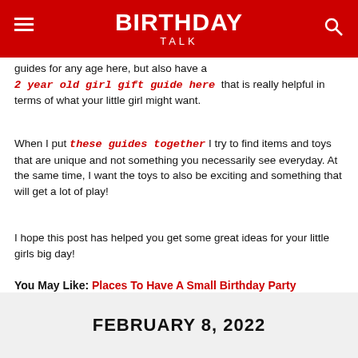BIRTHDAY TALK
guides for any age here, but also have a 2 year old girl gift guide here that is really helpful in terms of what your little girl might want.
When I put these guides together I try to find items and toys that are unique and not something you necessarily see everyday. At the same time, I want the toys to also be exciting and something that will get a lot of play!
I hope this post has helped you get some great ideas for your little girls big day!
You May Like: Places To Have A Small Birthday Party
FEBRUARY 8, 2022